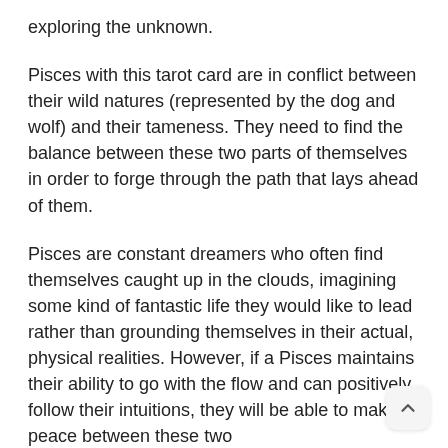exploring the unknown.
Pisces with this tarot card are in conflict between their wild natures (represented by the dog and wolf) and their tameness. They need to find the balance between these two parts of themselves in order to forge through the path that lays ahead of them.
Pisces are constant dreamers who often find themselves caught up in the clouds, imagining some kind of fantastic life they would like to lead rather than grounding themselves in their actual, physical realities. However, if a Pisces maintains their ability to go with the flow and can positively follow their intuitions, they will be able to make peace between these two contradicting natures, and they will be able to